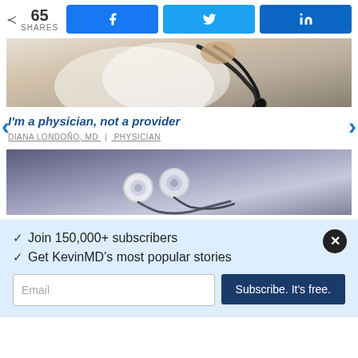65 SHARES
[Figure (photo): Close-up photo of a doctor in white coat holding a stethoscope]
I'm a physician, not a provider
DIANA LONDOÑO, MD | PHYSICIAN
[Figure (photo): Photo of white earbuds/earphones on dark background]
✓ Join 150,000+ subscribers
✓ Get KevinMD's most popular stories
Email
Subscribe. It's free.